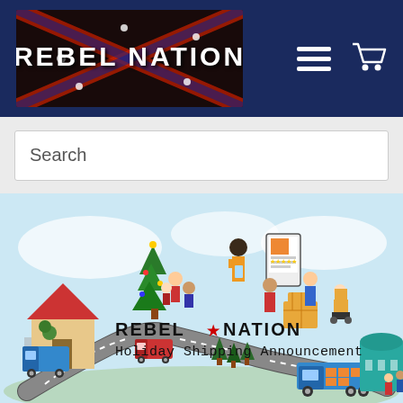REBEL NATION
Search
[Figure (illustration): Holiday shipping announcement banner illustration showing a delivery truck, house, Christmas tree with family, woman shopping on phone, warehouse workers packing boxes, delivery trucks on winding road, warehouse building. Text overlay reads REBEL NATION (with red star) Holiday Shipping Announcement.]